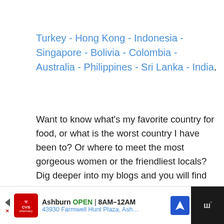Turkey - Hong Kong - Indonesia - Singapore - Bolivia - Colombia - Australia - Philippines - Sri Lanka - India.
Want to know what's my favorite country for food, or what is the worst country I have been to? Or where to meet the most gorgeous women or the friendliest locals? Dig deeper into my blogs and you will find the answers to all of these questions… ;)
Ask me which country I like most for … and I will be happy to answer them iin the comments below! Tell me about your most visited country and leave a comment, I am sincerely interested in your stories! Thank you guys.
Ashburn OPEN 8AM–12AM 43930 Farmwell Hunt Plaza, Ash…